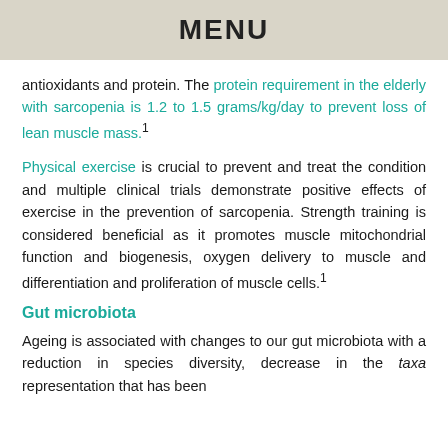MENU
antioxidants and protein. The protein requirement in the elderly with sarcopenia is 1.2 to 1.5 grams/kg/day to prevent loss of lean muscle mass.¹
Physical exercise is crucial to prevent and treat the condition and multiple clinical trials demonstrate positive effects of exercise in the prevention of sarcopenia. Strength training is considered beneficial as it promotes muscle mitochondrial function and biogenesis, oxygen delivery to muscle and differentiation and proliferation of muscle cells.¹
Gut microbiota
Ageing is associated with changes to our gut microbiota with a reduction in species diversity, decrease in the taxa representation that has been